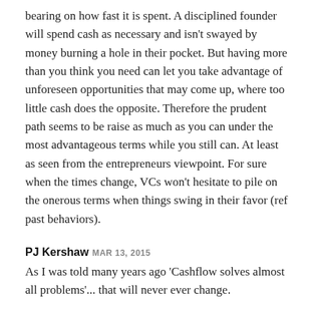bearing on how fast it is spent. A disciplined founder will spend cash as necessary and isn't swayed by money burning a hole in their pocket. But having more than you think you need can let you take advantage of unforeseen opportunities that may come up, where too little cash does the opposite. Therefore the prudent path seems to be raise as much as you can under the most advantageous terms while you still can. At least as seen from the entrepreneurs viewpoint. For sure when the times change, VCs won't hesitate to pile on the onerous terms when things swing in their favor (ref past behaviors).
PJ Kershaw MAR 13, 2015
As I was told many years ago 'Cashflow solves almost all problems'... that will never ever change.
Kenny Fraser MAR 13, 2015